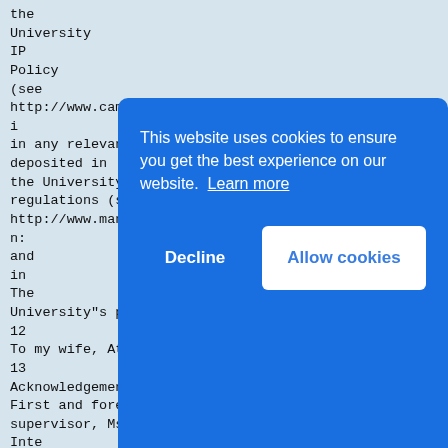the
University
IP
Policy
(see
http://www.campus.manchester.ac.uk/medialibrary/polici
in any relevant Thesis restriction declarations
deposited in
the University Library, The University Library"s
regulations (see
http://www.manchester.ac.uk/library/aboutus/regulation:
and
in
The
University"s policy on presentation of Theses.
12
To my wife, Atiqah
13
Acknowledgements
First and foremost, I would like to thank my
supervisor, Ms Yamie, Professor in
Inte
for
guid
expe
only
but
the
My m
Manc
Cent
Research (CIBER), both past and
[Figure (screenshot): Cookie consent banner overlay with blue background. Text reads: 'This website uses cookies to ensure you get the best experience on our website. Learn more' with two buttons: 'Decline' and 'Allow cookies'.]